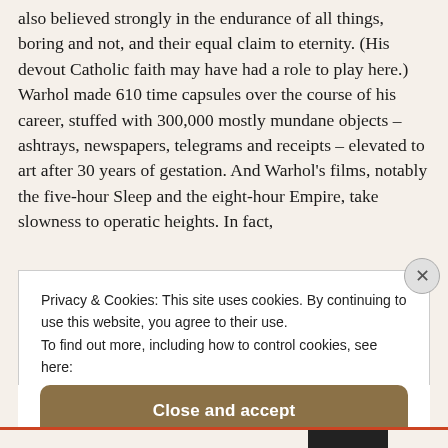also believed strongly in the endurance of all things, boring and not, and their equal claim to eternity. (His devout Catholic faith may have had a role to play here.) Warhol made 610 time capsules over the course of his career, stuffed with 300,000 mostly mundane objects – ashtrays, newspapers, telegrams and receipts – elevated to art after 30 years of gestation. And Warhol's films, notably the five-hour Sleep and the eight-hour Empire, take slowness to operatic heights. In fact,
Privacy & Cookies: This site uses cookies. By continuing to use this website, you agree to their use.
To find out more, including how to control cookies, see here:
Cookie Policy
Close and accept